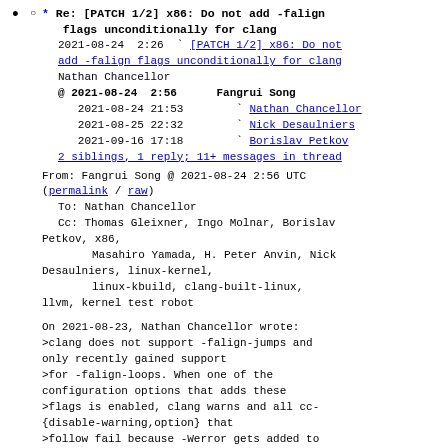• (bullet point)
○ * Re: [PATCH 1/2] x86: Do not add -falign flags unconditionally for clang
2021-08-24  2:26  [PATCH 1/2] x86: Do not add -falign flags unconditionally for clang
Nathan Chancellor
@ 2021-08-24  2:56      Fangrui Song
   2021-08-24 21:53        Nathan Chancellor
   2021-08-25 22:32        Nick Desaulniers
   2021-09-16 17:18        Borislav Petkov
   2 siblings, 1 reply; 11+ messages in thread
From: Fangrui Song @ 2021-08-24  2:56 UTC
(permalink / raw)
  To: Nathan Chancellor
  Cc: Thomas Gleixner, Ingo Molnar, Borislav Petkov, x86,
        Masahiro Yamada, H. Peter Anvin, Nick Desaulniers, linux-kernel,
        linux-kbuild, clang-built-linux,
  llvm, kernel test robot

On 2021-08-23, Nathan Chancellor wrote:
>clang does not support -falign-jumps and only recently gained support
>for -falign-loops. When one of the configuration options that adds these
>flags is enabled, clang warns and all cc-{disable-warning,option} that
>follow fail because -Werror gets added to